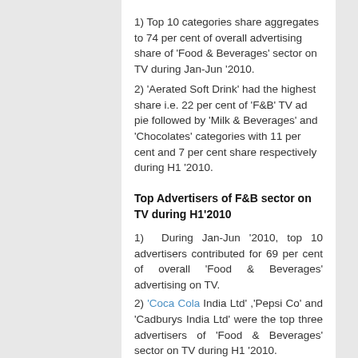1) Top 10 categories share aggregates to 74 per cent of overall advertising share of 'Food & Beverages' sector on TV during Jan-Jun '2010.
2) 'Aerated Soft Drink' had the highest share i.e. 22 per cent of 'F&B' TV ad pie followed by 'Milk & Beverages' and 'Chocolates' categories with 11 per cent and 7 per cent share respectively during H1 '2010.
Top Advertisers of F&B sector on TV during H1'2010
1) During Jan-Jun '2010, top 10 advertisers contributed for 69 per cent of overall 'Food & Beverages' advertising on TV.
2) 'Coca Cola India Ltd' ,'Pepsi Co' and 'Cadburys India Ltd' were the top three advertisers of 'Food & Beverages' sector on TV during H1 '2010.
Volume Growth of Personal Care/Personal Hygiene sector on TV